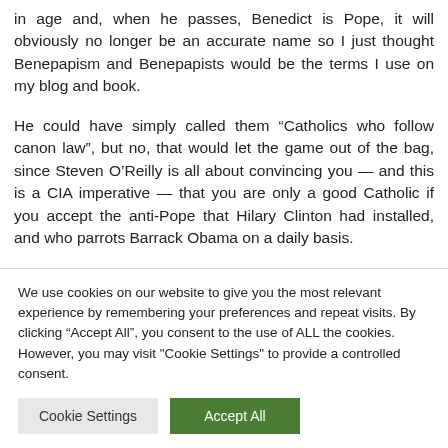in age and, when he passes, Benedict is Pope, it will obviously no longer be an accurate name so I just thought Benepapism and Benepapists would be the terms I use on my blog and book.
He could have simply called them “Catholics who follow canon law”, but no, that would let the game out of the bag, since Steven O’Reilly is all about convincing you — and this is a CIA imperative — that you are only a good Catholic if you accept the anti-Pope that Hilary Clinton had installed, and who parrots Barrack Obama on a daily basis.
We use cookies on our website to give you the most relevant experience by remembering your preferences and repeat visits. By clicking “Accept All”, you consent to the use of ALL the cookies. However, you may visit “Cookie Settings” to provide a controlled consent.